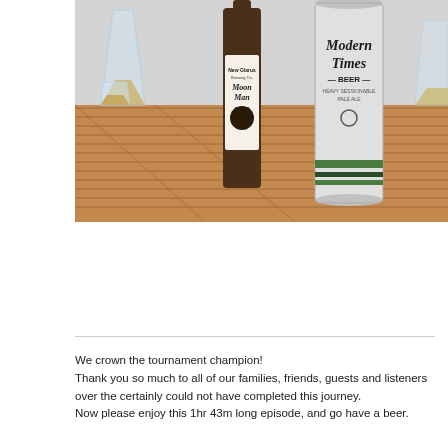[Figure (photo): Photo of beer bottles and glasses on a wooden slatted table. Visible items include a glass with golden beer on the left, a New Glarus Brewing Co. Moon Man beer bottle in the center, a Modern Times Beer can on the right, and a partial glass on the far right. Background is a light grey/white wall.]
We crown the tournament champion!
Thank you so much to all of our families, friends, guests and listeners over the certainly could not have completed this journey.
Now please enjoy this 1hr 43m long episode, and go have a beer.